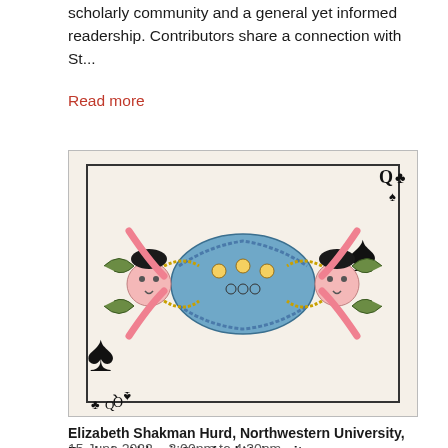scholarly community and a general yet informed readership. Contributors share a connection with St...
Read more
[Figure (illustration): A playing card (Queen of Spades) featuring a symmetrical design with two mirrored female figures in ornate traditional dress, black spade suit symbols, and decorative elements in blue, pink, black and gold.]
Elizabeth Shakman Hurd, Northwestern University, Rushain Abbasi, Stanford University,
15 June 2022 – 3:00pm to 4:30pm